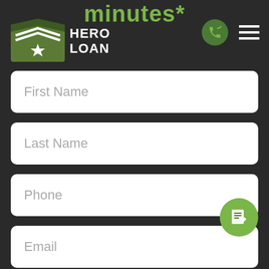minutes*
[Figure (logo): Hero Loan logo with military chevron and star emblem in olive green]
First Name
Last Name
Phone
Email
Are you looking to purchase or refinanc